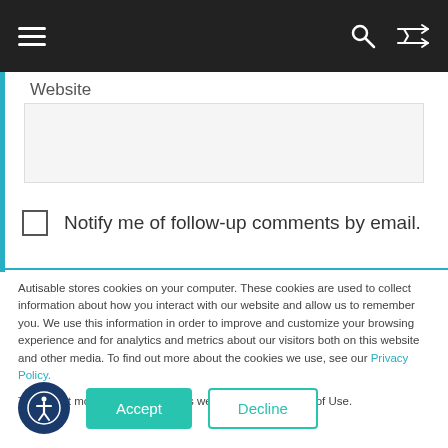Navigation bar with hamburger menu, search, and shuffle icons
Website
[Figure (screenshot): Empty text input field for website URL]
Notify me of follow-up comments by email.
Autisable stores cookies on your computer. These cookies are used to collect information about how you interact with our website and allow us to remember you. We use this information in order to improve and customize your browsing experience and for analytics and metrics about our visitors both on this website and other media. To find out more about the cookies we use, see our Privacy Policy.
To find out more about the cookies we use, see our Terms of Use.
Accept
Decline